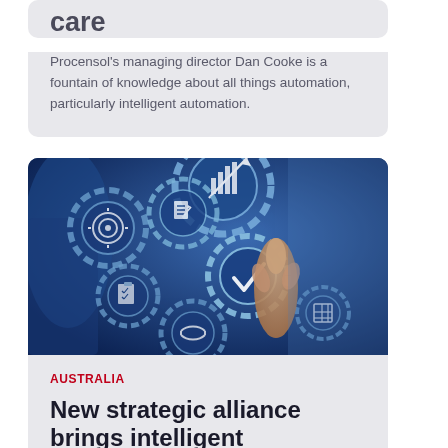care
Procensol's managing director Dan Cooke is a fountain of knowledge about all things automation, particularly intelligent automation.
[Figure (photo): Business professional touching a digital interface showing interconnected gears with icons representing goals, documents, analytics, handshake, checkmark, and a bar chart with upward arrow, representing intelligent automation and business processes.]
AUSTRALIA
New strategic alliance brings intelligent automation to